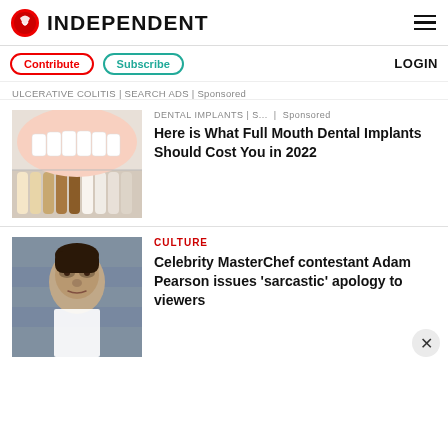INDEPENDENT
Contribute | Subscribe | LOGIN
ULCERATIVE COLITIS | SEARCH ADS | Sponsored
[Figure (photo): Close-up photo of dental shade guide samples next to a mouth with white teeth]
DENTAL IMPLANTS | S... | Sponsored
Here is What Full Mouth Dental Implants Should Cost You in 2022
[Figure (photo): Photo of Celebrity MasterChef contestant Adam Pearson in apron]
CULTURE
Celebrity MasterChef contestant Adam Pearson issues 'sarcastic' apology to viewers